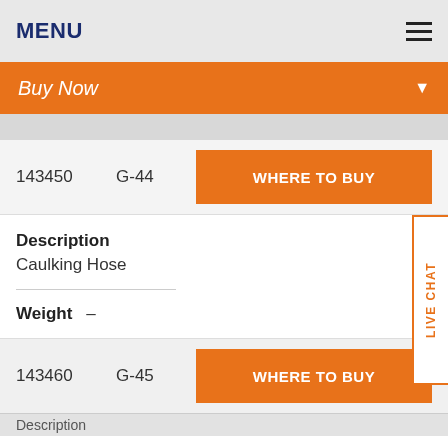MENU
Buy Now
143450   G-44
WHERE TO BUY
Description
Caulking Hose
Weight   –
143460   G-45
WHERE TO BUY